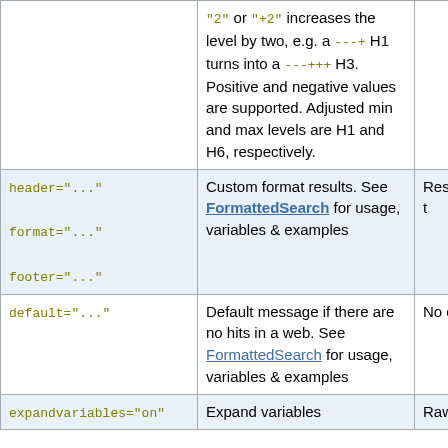| Parameter | Description | Default |
| --- | --- | --- |
| (continuation) | "2" or "+2" increases the level by two, e.g. a ---+ H1 turns into a ---+++ H3. Positive and negative values are supported. Adjusted min and max levels are H1 and H6, respectively. | (cut off) |
| header="..."
format="..."
footer="..." | Custom format results. See FormattedSearch for usage, variables & examples | Results in t... |
| default="..." | Default message if there are no hits in a web. See FormattedSearch for usage, variables & examples | No output |
| expandvariables="on" | Expand variables | Raw text |